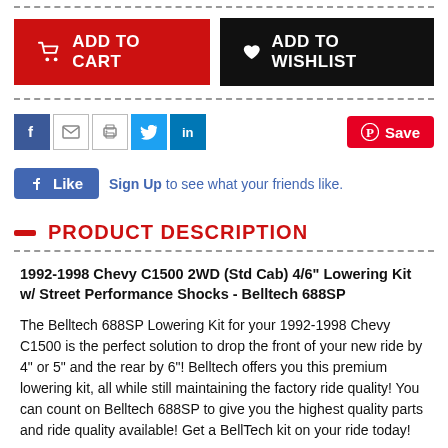[Figure (infographic): Add to Cart and Add to Wishlist buttons row]
[Figure (infographic): Social sharing icons row: Facebook, email, print, Twitter, LinkedIn, and Pinterest Save button]
[Figure (infographic): Facebook Like button with Sign Up link and text: Sign Up to see what your friends like.]
PRODUCT DESCRIPTION
1992-1998 Chevy C1500 2WD (Std Cab) 4/6" Lowering Kit w/ Street Performance Shocks - Belltech 688SP
The Belltech 688SP Lowering Kit for your 1992-1998 Chevy C1500 is the perfect solution to drop the front of your new ride by 4" or 5" and the rear by 6"! Belltech offers you this premium lowering kit, all while still maintaining the factory ride quality! You can count on Belltech 688SP to give you the highest quality parts and ride quality available! Get a BellTech kit on your ride today!